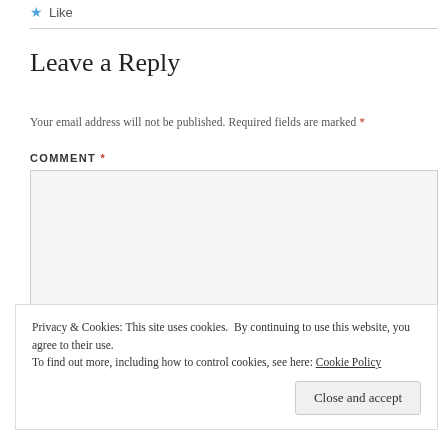Like
Leave a Reply
Your email address will not be published. Required fields are marked *
COMMENT *
Privacy & Cookies: This site uses cookies. By continuing to use this website, you agree to their use.
To find out more, including how to control cookies, see here: Cookie Policy
Close and accept